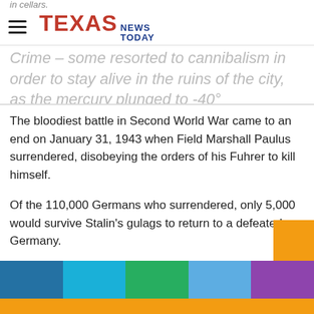TEXAS NEWS TODAY
in cellars.
Crime – some resorted to cannibalism in order to stay alive in the ruins of the city, as the mercury plunged to -40°...
The bloodiest battle in Second World War came to an end on January 31, 1943 when Field Marshall Paulus surrendered, disobeying the orders of his Fuhrer to kill himself.
Of the 110,000 Germans who surrendered, only 5,000 would survive Stalin's gulags to return to a defeated Germany.
The battle cost the German army a quarter of everything it possessed by way of material – guns, tanks and munitions. It was a defeat from which it never recovered and for days afterwards in Berlin all shops and restaurants were closed a